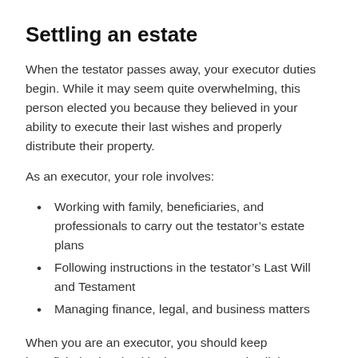Settling an estate
When the testator passes away, your executor duties begin. While it may seem quite overwhelming, this person elected you because they believed in your ability to execute their last wishes and properly distribute their property.
As an executor, your role involves:
Working with family, beneficiaries, and professionals to carry out the testator’s estate plans
Following instructions in the testator’s Last Will and Testament
Managing finance, legal, and business matters
When you are an executor, you should keep beneficiaries involved in the process and collaborate with co-executors. The order of your responsibilities may change based on the testator’s estate, but your